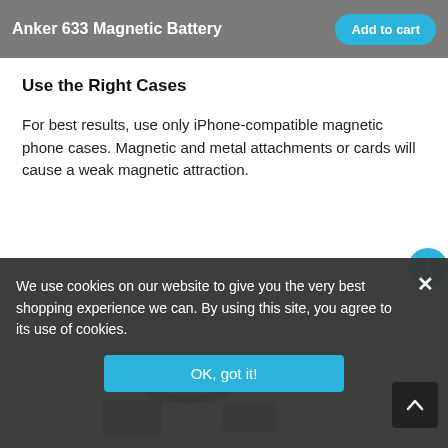Anker 633 Magnetic Battery | Add to cart
Use the Right Cases
For best results, use only iPhone-compatible magnetic phone cases. Magnetic and metal attachments or cards will cause a weak magnetic attraction.
[Figure (photo): Product image showing Anker 633 Magnetic Battery with a phone case on a light blue background]
We use cookies on our website to give you the very best shopping experience we can. By using this site, you agree to its use of cookies.
OK, got it!